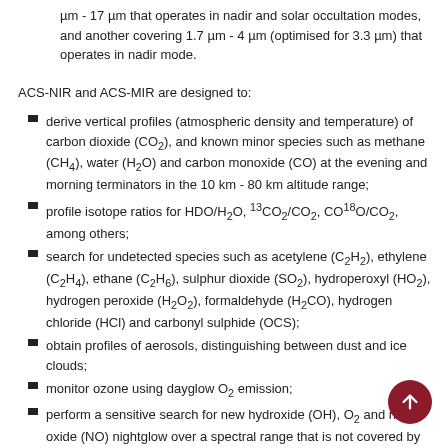µm - 17 µm that operates in nadir and solar occultation modes, and another covering 1.7 µm - 4 µm (optimised for 3.3 µm) that operates in nadir mode.
ACS-NIR and ACS-MIR are designed to:
derive vertical profiles (atmospheric density and temperature) of carbon dioxide (CO₂), and known minor species such as methane (CH₄), water (H₂O) and carbon monoxide (CO) at the evening and morning terminators in the 10 km - 80 km altitude range;
profile isotope ratios for HDO/H₂O, ¹³CO₂/CO₂, CO¹⁸O/CO₂, among others;
search for undetected species such as acetylene (C₂H₂), ethylene (C₂H₄), ethane (C₂H₆), sulphur dioxide (SO₂), hydroperoxyl (HO₂), hydrogen peroxide (H₂O₂), formaldehyde (H₂CO), hydrogen chloride (HCl) and carbonyl sulphide (OCS);
obtain profiles of aerosols, distinguishing between dust and ice clouds;
monitor ozone using dayglow O₂ emission;
perform a sensitive search for new hydroxide (OH), O₂ and nitric oxide (NO) nightglow over a spectral range that is not covered by any TGO spectrometer.